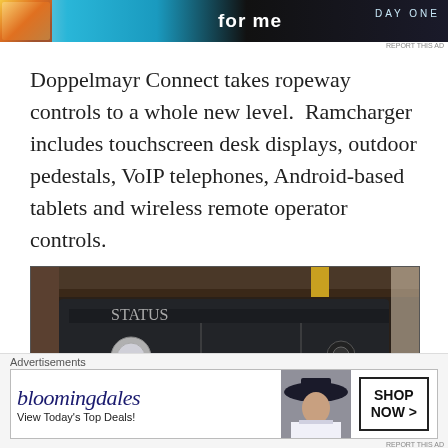[Figure (other): Top advertisement banner with colorful background, image thumbnail on left, text 'for me' in center, 'DAY ONE' on right]
Doppelmayr Connect takes ropeway controls to a whole new level.  Ramcharger includes touchscreen desk displays, outdoor pedestals, VoIP telephones, Android-based tablets and wireless remote operator controls.
[Figure (photo): Photo of a Ramcharger ropeway control panel — a dark-colored outdoor pedestal with multiple illuminated buttons including circular indicators, a blue illuminated button, and a yellow/red emergency stop button on the right side. The panel has a black face with control switches and illuminated buttons.]
Advertisements
[Figure (other): Bloomingdale's advertisement banner. Shows 'bloomingdales' logo in navy script font, 'View Today's Top Deals!' text, a photo of a woman in a large brimmed hat, and a 'SHOP NOW >' button in a bordered box.]